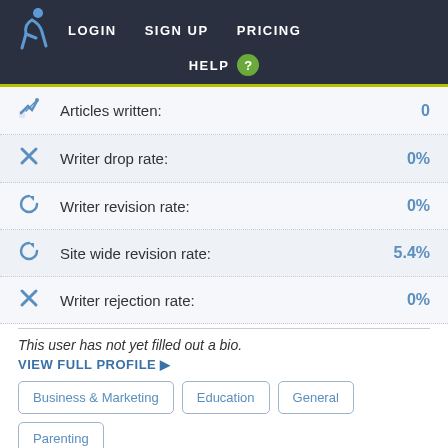LOGIN  SIGN UP  PRICING  HELP
Articles written: 0
Writer drop rate: 0%
Writer revision rate: 0%
Site wide revision rate: 5.4%
Writer rejection rate: 0%
This user has not yet filled out a bio.
VIEW FULL PROFILE ▶
Business & Marketing  Education  General  Parenting